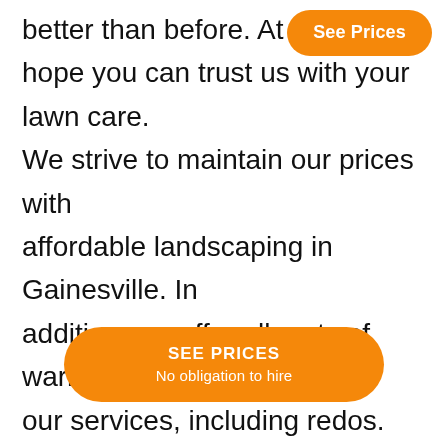better than before. At Mow[...] hope you can trust us with your lawn care. We strive to maintain our prices with affordable landscaping in Gainesville. In addition, we offer all sorts of warranty on our services, including redos. This includes seasonal lawn mowing, landscaping, and cheap lawn maintenance in Gainesville. We want to be your landscapers for the years to come, not just one time. That being said, you will see that building a relationship with you is[...] g your money. Since our first few mowing in
[Figure (other): Orange rounded button labeled 'See Prices' in white bold text, positioned top-right of page]
[Figure (other): Orange rounded button labeled 'SEE PRICES' with subtitle 'No obligation to hire' in white text, positioned center-bottom of page]